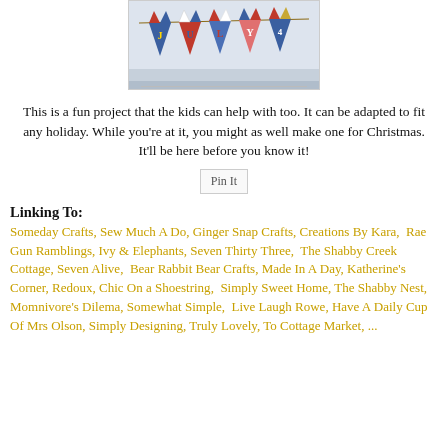[Figure (photo): Photo of a patriotic July 4th banner with pennant flags decorated in red, white, and blue patterns spelling out letters, hung on a string.]
This is a fun project that the kids can help with too. It can be adapted to fit any holiday. While you're at it, you might as well make one for Christmas. It'll be here before you know it!
[Figure (other): Pin It button image]
Linking To:
Someday Crafts, Sew Much A Do, Ginger Snap Crafts, Creations By Kara, Rae Gun Ramblings, Ivy & Elephants, Seven Thirty Three, The Shabby Creek Cottage, Seven Alive, Bear Rabbit Bear Crafts, Made In A Day, Katherine's Corner, Redoux, Chic On a Shoestring, Simply Sweet Home, The Shabby Nest, Momnivore's Dilema, Somewhat Simple, Live Laugh Rowe, Have A Daily Cup Of Mrs Olson, Simply Designing, Truly Lovely, To Cottage Market, ...